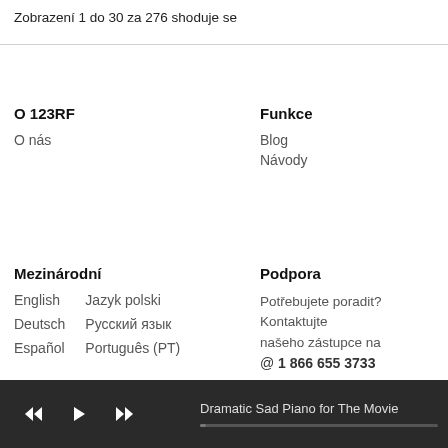Zobrazení 1 do 30 za 276 shoduje se
O 123RF
O nás
Funkce
Blog
Návody
Mezinárodní
English
Deutsch
Español
Jazyk polski
Русский язык
Português (PT)
Podpora
Potřebujete poradit? Kontaktujte našeho zástupce na
@ 1 866 655 3733
Dramatic Sad Piano for The Movie